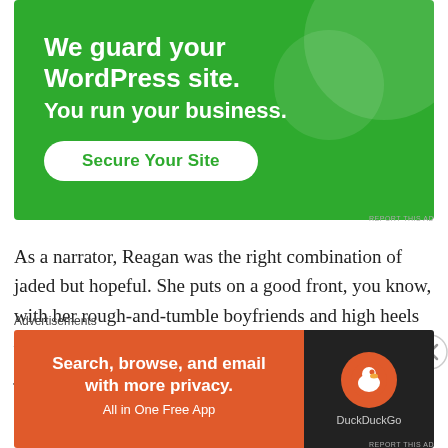[Figure (infographic): Green banner advertisement: 'We guard your WordPress site. You run your business.' with a 'Secure Your Site' button on green background with circular decorative elements.]
As a narrator, Reagan was the right combination of jaded but hopeful. She puts on a good front, you know, with her rough-and-tumble boyfriends and high heels — but we know she's secretly striving for connection, just like all of us. Her evolution from damaged to trying was
Advertisements
[Figure (infographic): DuckDuckGo advertisement: 'Search, browse, and email with more privacy. All in One Free App' on orange background with DuckDuckGo logo on dark background.]